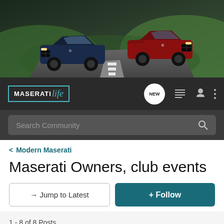[Figure (photo): Maserati banner showing two luxury sports cars on a road — a dark blue convertible and a red sports car — with green hills in background]
MASERATIlife — navigation bar with NEW chat badge, list icon, user icon, menu icon, and Search Community search bar
< Modern Maserati
Maserati Owners, club events
→ Jump to Latest
+ Follow
1 - 8 of 8 Posts
shifter · Registered
Joined Apr 22, 2004 · 38 Posts